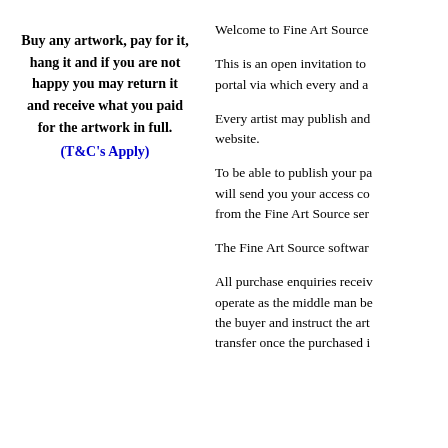Buy any artwork, pay for it, hang it and if you are not happy you may return it and receive what you paid for the artwork in full. (T&C's Apply)
Welcome to Fine Art Source
This is an open invitation to portal via which every and a
Every artist may publish and website.
To be able to publish your pa will send you your access co from the Fine Art Source ser
The Fine Art Source softwar
All purchase enquiries receiv operate as the middle man be the buyer and instruct the art transfer once the purchased i